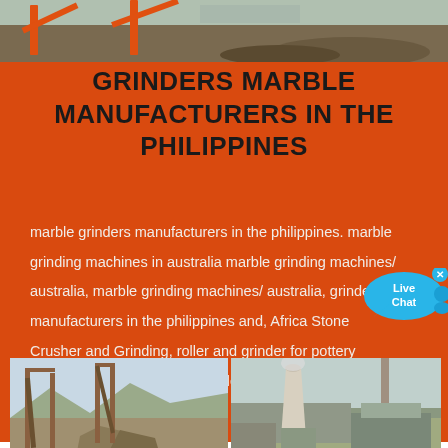[Figure (photo): Top strip: industrial quarry/mining conveyor belt machinery outdoors]
GRINDERS MARBLE MANUFACTURERS IN THE PHILIPPINES
marble grinders manufacturers in the philippines. marble grinding machines in australia marble grinding machines/ australia, marble grinding machines/ australia, grinders manufacturers in the philippines and, Africa Stone Crusher and Grinding, roller and grinder for pottery machines supplier in the, Grinder for sale . ....
[Figure (infographic): Live Chat bubble widget — blue speech bubble with 'Live Chat' text and an X close button]
[Figure (photo): Bottom left: industrial quarry site with conveyor belt structures and gravel pile]
[Figure (photo): Bottom right: aerial view of industrial plant with cooling tower and factory buildings]